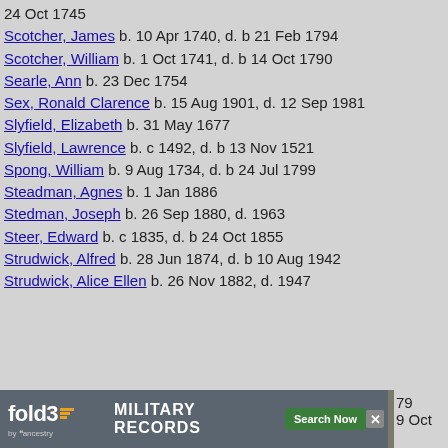24 Oct 1745
Scotcher, James  b. 10 Apr 1740, d. b 21 Feb 1794
Scotcher, William  b. 1 Oct 1741, d. b 14 Oct 1790
Searle, Ann  b. 23 Dec 1754
Sex, Ronald Clarence  b. 15 Aug 1901, d. 12 Sep 1981
Slyfield, Elizabeth  b. 31 May 1677
Slyfield, Lawrence  b. c 1492, d. b 13 Nov 1521
Spong, William  b. 9 Aug 1734, d. b 24 Jul 1799
Steadman, Agnes  b. 1 Jan 1886
Stedman, Joseph  b. 26 Sep 1880, d. 1963
Steer, Edward  b. c 1835, d. b 24 Oct 1855
Strudwick, Alfred  b. 28 Jun 1874, d. b 10 Aug 1942
Strudwick, Alice Ellen  b. 26 Nov 1882, d. 1947
[Figure (infographic): fold3 by ancestry advertisement banner for Military Records with Search Now button and soldier photo]